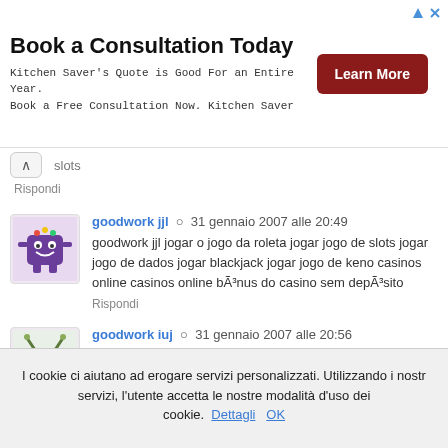[Figure (other): Advertisement banner: 'Book a Consultation Today' with Learn More button and ad icons]
slots
Rispondi
goodwork jjl  31 gennaio 2007 alle 20:49
goodwork jjl jogar o jogo da roleta jogar jogo de slots jogar jogo de dados jogar blackjack jogar jogo de keno casinos online casinos online bÃ³nus do casino sem depÃ³sito
Rispondi
goodwork iuj  31 gennaio 2007 alle 20:56
goodwork iuj roulette tables casino roulette download free roulette games roulette armstead free roulette systems roulette online online roulette roulette gambling
I cookie ci aiutano ad erogare servizi personalizzati. Utilizzando i nostri servizi, l'utente accetta le nostre modalità d'uso dei cookie. Dettagli OK